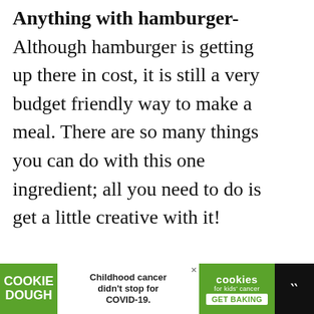Anything with hamburger- Although hamburger is getting up there in cost, it is still a very budget friendly way to make a meal. There are so many things you can do with this one ingredient; all you need to do is get a little creative with it!
Grilled Panini's– Grilled cheese is typically a family favorite, but add a little meat and veggies to it and you have a grilled Panini. Panini's are very rich in flavor and are very filling.
[Figure (screenshot): Web page UI overlay showing a heart/favorite button (purple circle), share count 19, share button, and a 'What's Next' widget showing 'Hidden Pot O' Gold Puddin...' with a green food thumbnail.]
[Figure (infographic): Bottom advertisement bar: Cookie Dough brand ad on black background. Left green section shows 'COOKIE DOUGH' text. Middle white section reads 'Childhood cancer didn't stop for COVID-19.' Right green section shows 'cookies for kids' cancer GET BAKING' logo. Far right black section with 'III' icon.]